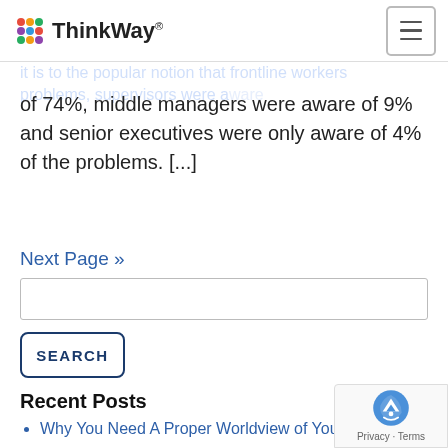ThinkWay [logo with navigation hamburger]
it is to the popular notion that frontline workers... problems, supervisors were aware of 74%, middle managers were aware of 9% and senior executives were only aware of 4% of the problems. [...]
Next Page »
Recent Posts
Why You Need A Proper Worldview of Your Business
Your Strategy's Teleology: Setting Strategic Intent First
Labor Shortage? Tap Into An Emerging Market of Highly Skilled, Available Workers